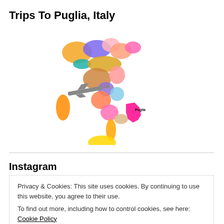Trips To Puglia, Italy
[Figure (map): Colorful illustrated map of Italy showing regions in different colors (pink, orange, blue, purple, magenta, yellow, etc.) with an airplane flying across it. The region of Puglia is labeled in the southeast.]
Instagram
Privacy & Cookies: This site uses cookies. By continuing to use this website, you agree to their use.
To find out more, including how to control cookies, see here: Cookie Policy
Close and accept